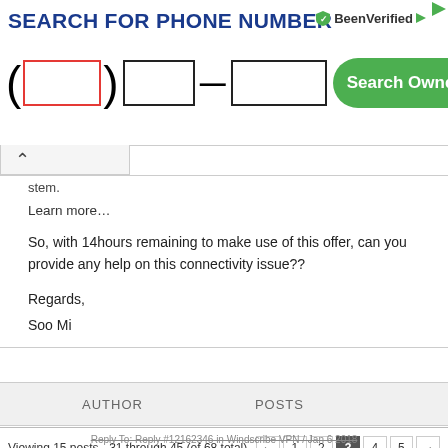[Figure (screenshot): BeenVerified phone number search ad banner with three input boxes for area code, prefix, and suffix, a red-outlined area code box, and a green Search Owner button]
stem.
Learn more…
So, with 14hours remaining to make use of this offer, can you provide any help on this connectivity issue??
Regards,
Soo Mi
| AUTHOR | POSTS |
| --- | --- |
Viewing 15 posts - 31 through 45 (of 68 total)
Reply To: Reply #12162346 in Windscribe VPN / Jan 6 2018